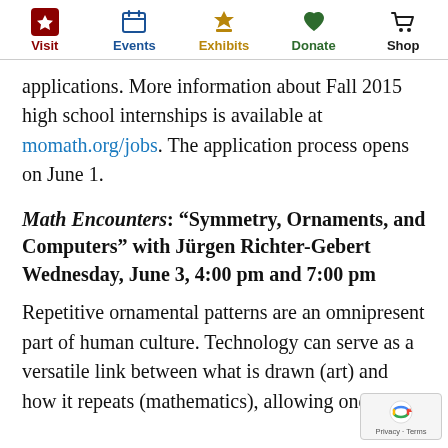Visit | Events | Exhibits | Donate | Shop
applications.  More information about Fall 2015 high school internships is available at momath.org/jobs.  The application process opens on June 1.
Math Encounters: “Symmetry, Ornaments, and Computers” with Jürgen Richter-Gebert Wednesday, June 3, 4:00 pm and 7:00 pm
Repetitive ornamental patterns are an omnipresent part of human culture. Technology can serve as a versatile link between what is drawn (art) and how it repeats (mathematics), allowing one to